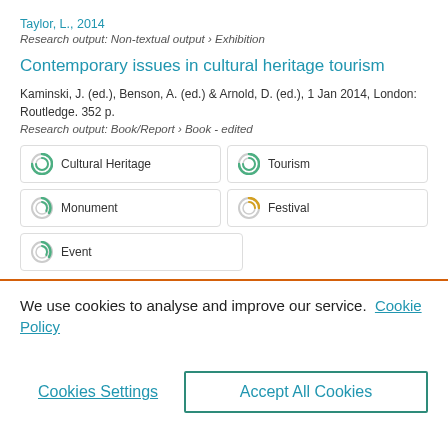Taylor, L., 2014
Research output: Non-textual output › Exhibition
Contemporary issues in cultural heritage tourism
Kaminski, J. (ed.), Benson, A. (ed.) & Arnold, D. (ed.), 1 Jan 2014, London: Routledge. 352 p.
Research output: Book/Report › Book - edited
Cultural Heritage
Tourism
Monument
Festival
Event
We use cookies to analyse and improve our service. Cookie Policy
Cookies Settings
Accept All Cookies